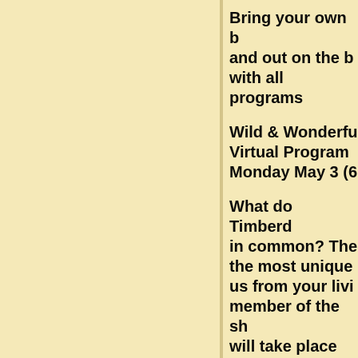Bring your own b... and out on the b... with all programs...
Wild & Wonderfu... Virtual Program Monday May 3 (6...
What do Timberd... in common? The... the most unique ... us from your livi... member of the sh... will take place on...